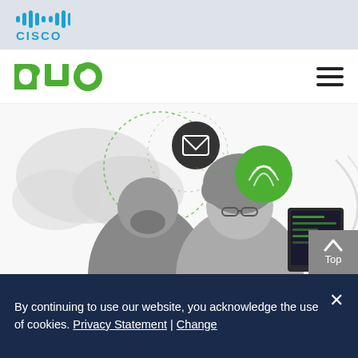Cisco logo
[Figure (logo): Duo Security logo (green bold 'duo' letters) and hamburger menu icon on white navigation bar]
[Figure (photo): Black and white photo of two people (a man and a woman) looking at something together, with cybersecurity icons overlay (email envelope in dark circle, fingerprint in green circle, dotted circles/cloud graphics)]
By continuing to use our website, you acknowledge the use of cookies. Privacy Statement | Change